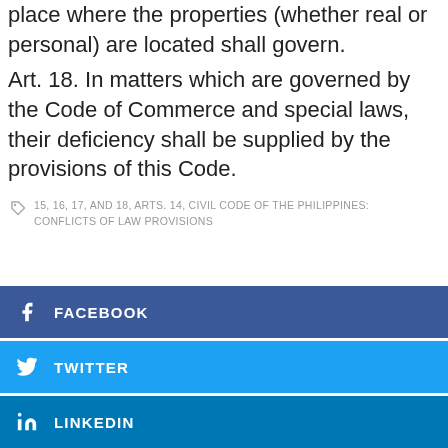place where the properties (whether real or personal) are located shall govern.
Art. 18. In matters which are governed by the Code of Commerce and special laws, their deficiency shall be supplied by the provisions of this Code.
15, 16, 17, AND 18, ARTS. 14, CIVIL CODE OF THE PHILIPPINES: CONFLICTS OF LAW PROVISIONS